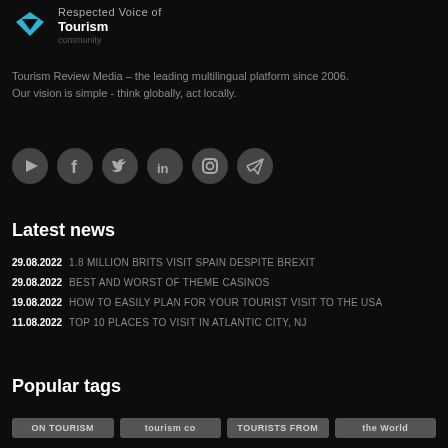[Figure (logo): Tourism Review Media logo with cyan diamond/arrow icon and text 'Respected Voice of Tourism']
Tourism Review Media – the leading multilingual platform since 2006. Our vision is simple - think globally, act locally.
[Figure (infographic): Row of social media icons: YouTube, Facebook, Twitter, LinkedIn, Instagram, Telegram]
Latest news
29.08.2022  1.8 MILLION BRITS VISIT SPAIN DESPITE BREXIT
29.08.2022  BEST AND WORST OF THEME CASINOS
19.08.2022  HOW TO EASILY PLAN FOR YOUR TOURIST VISIT TO THE USA
11.08.2022  TOP 10 PLACES TO VISIT IN ATLANTIC CITY, NJ
Popular tags
ON TOURISM
tourism co
TOURISTS FROM
the World